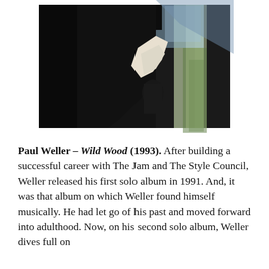[Figure (photo): A high-contrast dark photograph showing a silhouetted figure, likely a person, against a blurred background with hints of green and light blue, suggesting an outdoor window or door frame setting.]
Paul Weller – Wild Wood (1993). After building a successful career with The Jam and The Style Council, Weller released his first solo album in 1991. And, it was that album on which Weller found himself musically. He had let go of his past and moved forward into adulthood. Now, on his second solo album, Weller dives full on